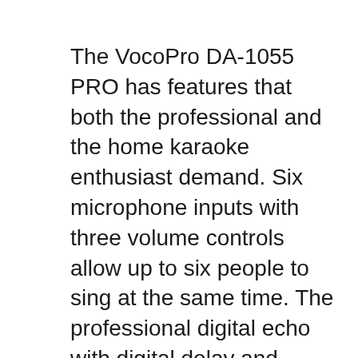The VocoPro DA-1055 PRO has features that both the professional and the home karaoke enthusiast demand. Six microphone inputs with three volume controls allow up to six people to sing at the same time. The professional digital echo with digital delay and repeat controls helps anyone who sings to sound their best. The dual 7-band stereo VocoPro is the industry's first to package a single receiver with multiple transmitters offering ultimate flexibility and affordability. This is also a super affordable system thanks to new, mic - on-chip(tm), technology we were able to eliminate hundreds of parts as well as hours of manual adjusting by